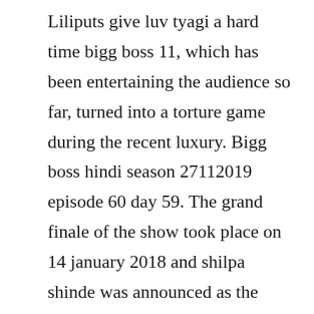Liliputs give luv tyagi a hard time bigg boss 11, which has been entertaining the audience so far, turned into a torture game during the recent luxury. Bigg boss hindi season 27112019 episode 60 day 59. The grand finale of the show took place on 14 january 2018 and shilpa shinde was announced as the winner while hina khan as runnerup this was the second season of bigg boss to appear on voot. Bigg boss 11 episode 57 day 57 here are the live updates of todays bigg boss 11, episode 58, day 58, november 28, 2017.